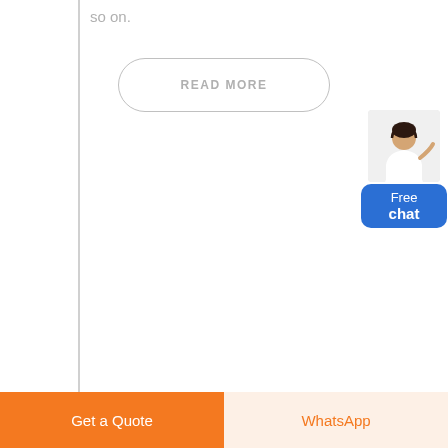so on.
READ MORE
[Figure (illustration): Customer service representative figure with blue 'Free chat' button overlay widget in the top-right corner]
Get a Quote
WhatsApp